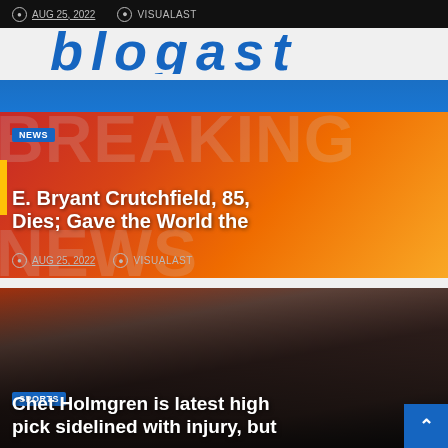AUG 25, 2022  VISUALAST
[Figure (illustration): Partial cropped blue bold italic text on light background, showing parts of large letters]
[Figure (photo): Breaking news graphic with orange-red gradient background, large semi-transparent BREAKING NEWS text, NEWS badge, headline text]
E. Bryant Crutchfield, 85, Dies; Gave the World the
AUG 25, 2022  VISUALAST
[Figure (photo): Sports photo showing basketball players huddled together with crowd in background, SPORTS badge and headline overlay]
Chet Holmgren is latest high pick sidelined with injury, but
AUG 25, 2022  VISUALAST